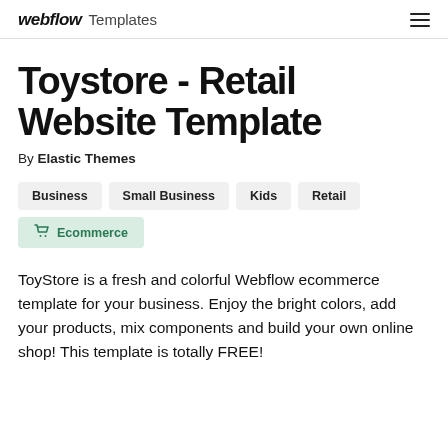webflow Templates
Toystore - Retail Website Template
By Elastic Themes
Business
Small Business
Kids
Retail
Ecommerce
ToyStore is a fresh and colorful Webflow ecommerce template for your business. Enjoy the bright colors, add your products, mix components and build your own online shop! This template is totally FREE!